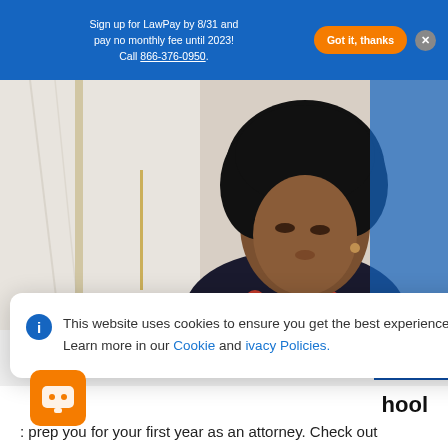Sign up for LawPay by 8/31 and pay no monthly fee until 2023! Call 866-376-0950.
[Figure (photo): Professional Black woman with natural afro hair, wearing a dark floral dress, looking down, seated near a window with marble wall background.]
This website uses cookies to ensure you get the best experience on our website. Learn more in our Cookie and Privacy Policies.
Dismiss
…hool
…: prep you for your first year as an attorney. Check out